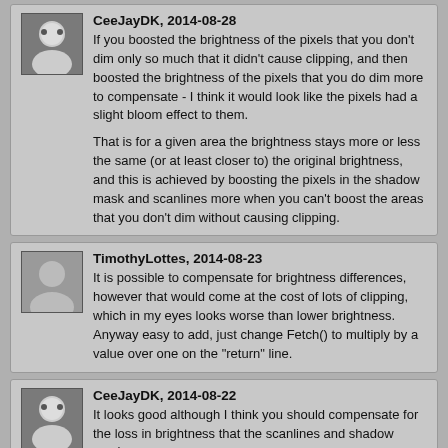CeeJayDK, 2014-08-28: If you boosted the brightness of the pixels that you don't dim only so much that it didn't cause clipping, and then boosted the brightness of the pixels that you do dim more to compensate - I think it would look like the pixels had a slight bloom effect to them.

That is for a given area the brightness stays more or less the same (or at least closer to) the original brightness, and this is achieved by boosting the pixels in the shadow mask and scanlines more when you can't boost the areas that you don't dim without causing clipping.
TimothyLottes, 2014-08-23: It is possible to compensate for brightness differences, however that would come at the cost of lots of clipping, which in my eyes looks worse than lower brightness. Anyway easy to add, just change Fetch() to multiply by a value over one on the "return" line.
CeeJayDK, 2014-08-22: It looks good although I think you should compensate for the loss in brightness that the scanlines and shadow mask causes.
poljere, 2014-08-20